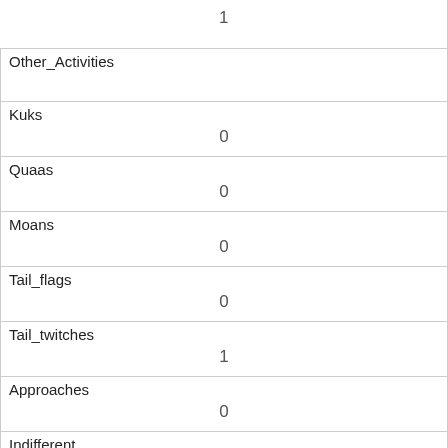|  | 1 |
| Other_Activities |  |
| Kuks | 0 |
| Quaas | 0 |
| Moans | 0 |
| Tail_flags | 0 |
| Tail_twitches | 1 |
| Approaches | 0 |
| Indifferent | 0 |
| Runs_from | 1 |
| Other_Interactions |  |